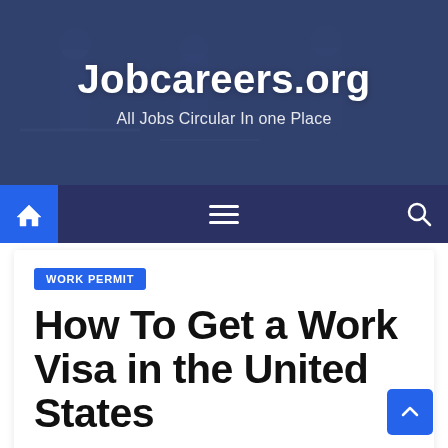Jobcareers.org
All Jobs Circular In one Place
[Figure (screenshot): Navigation bar with home icon, hamburger menu, and search icon on dark navy background]
WORK PERMIT
How To Get a Work Visa in the United States